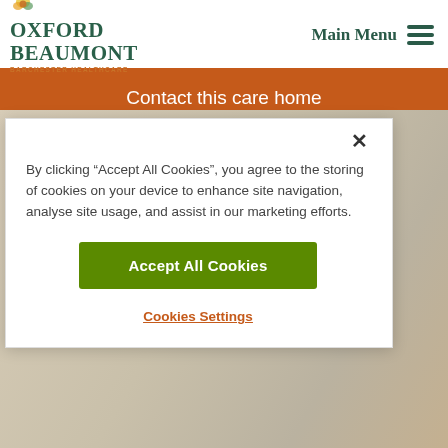[Figure (logo): Oxford Beaumont Barchester Healthcare logo with green text and orange sub-text]
Main Menu
Contact this care home
[Figure (photo): Background image showing a blurred interior room in beige/cream tones]
By clicking “Accept All Cookies”, you agree to the storing of cookies on your device to enhance site navigation, analyse site usage, and assist in our marketing efforts.
Accept All Cookies
Cookies Settings